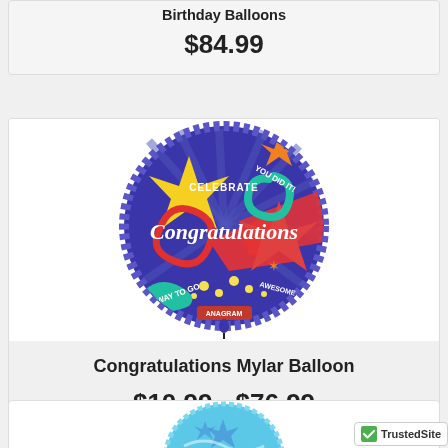Birthday Balloons
$84.99
[Figure (photo): Congratulations Mylar Balloon product image — round blue foil balloon with stars, swirls, and 'Congratulations' text]
Congratulations Mylar Balloon
$10.99 - $76.99
[Figure (photo): Partial view of a blue/teal balloon product at the bottom of the page]
[Figure (logo): TrustedSite badge with green checkmark]